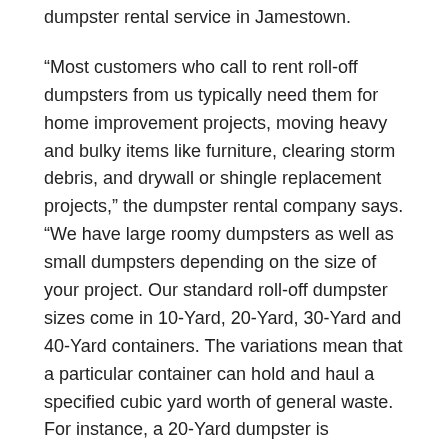dumpster rental service in Jamestown.
“Most customers who call to rent roll-off dumpsters from us typically need them for home improvement projects, moving heavy and bulky items like furniture, clearing storm debris, and drywall or shingle replacement projects,” the dumpster rental company says. “We have large roomy dumpsters as well as small dumpsters depending on the size of your project. Our standard roll-off dumpster sizes come in 10-Yard, 20-Yard, 30-Yard and 40-Yard containers. The variations mean that a particular container can hold and haul a specified cubic yard worth of general waste. For instance, a 20-Yard dumpster is designed to safely hold and carry up to 20 cubic yards worth of general residential waste. The same applies to all our roll-off dumpster sizes. You can rent any dumpster depending on how much waste you intend to throw out.”